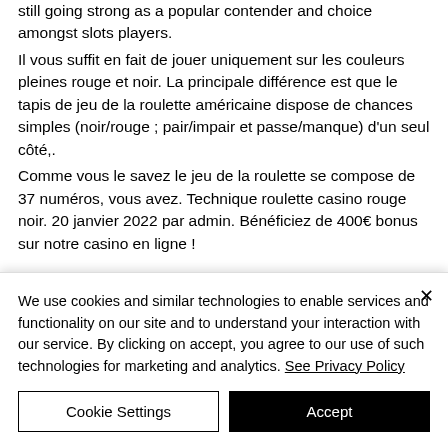still going strong as a popular contender and choice amongst slots players. Il vous suffit en fait de jouer uniquement sur les couleurs pleines rouge et noir. La principale différence est que le tapis de jeu de la roulette américaine dispose de chances simples (noir/rouge ; pair/impair et passe/manque) d'un seul côté,. Comme vous le savez le jeu de la roulette se compose de 37 numéros, vous avez. Technique roulette casino rouge noir. 20 janvier 2022 par admin. Bénéficiez de 400€ bonus sur notre casino en ligne !
We use cookies and similar technologies to enable services and functionality on our site and to understand your interaction with our service. By clicking on accept, you agree to our use of such technologies for marketing and analytics. See Privacy Policy
Cookie Settings
Accept